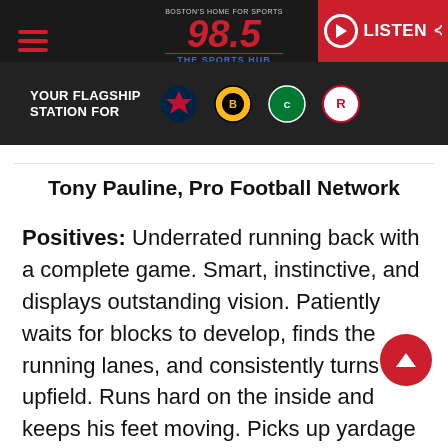98.5 The Sports Hub - Boston's Home for Sports - YOUR FLAGSHIP STATION FOR Patriots, Bruins, Celtics, Revolution
Tony Pauline, Pro Football Network
Positives: Underrated running back with a complete game. Smart, instinctive, and displays outstanding vision. Patiently waits for blocks to develop, finds the running lanes, and consistently turns it upfield. Runs hard on the inside and keeps his feet moving. Picks up yardage off initial contact, drags defenders,